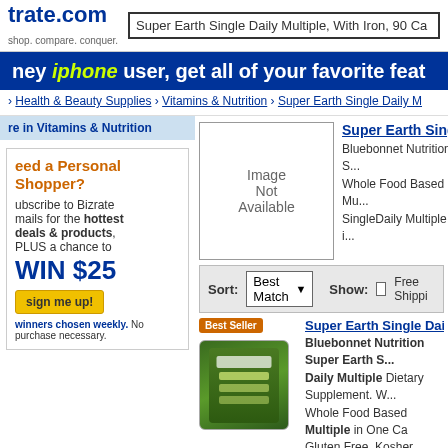trate.com | shop. compare. conquer. | Super Earth Single Daily Multiple, With Iron, 90 Ca
hey iphone user, get all of your favorite feat
> Health & Beauty Supplies > Vitamins & Nutrition > Super Earth Single Daily M
re in Vitamins & Nutrition
[Figure (other): Product image placeholder showing 'Image Not Available']
Super Earth Sing... Bluebonnet Nutrition S... Whole Food Based Mu... SingleDaily Multiple - i
eed a Personal Shopper? ubscribe to Bizrate mails for the hottest deals & products, PLUS a chance to WIN $25 sign me up! winners chosen weekly. No purchase necessary.
Sort: Best Match | Show: Free Shippi
Super Earth Single Daily Mu... Bluebonnet Nutrition Super Earth S... Daily Multiple Dietary Supplement. W... Whole Food Based Multiple in One Ca Gluten Free. Kosher Parve. Super Ea... SingleDaily Multiple - in both iron ano free forms - provides most ... more
Product Info ▼